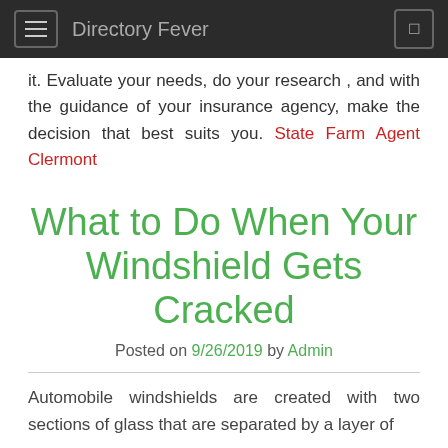Directory Fever
it. Evaluate your needs, do your research , and with the guidance of your insurance agency, make the decision that best suits you. State Farm Agent Clermont
What to Do When Your Windshield Gets Cracked
Posted on 9/26/2019 by Admin
Automobile windshields are created with two sections of glass that are separated by a layer of